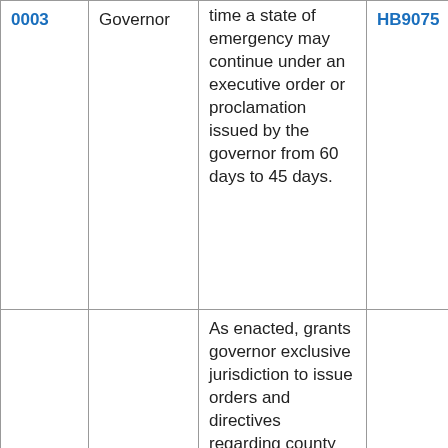| 0003 | Governor | time a state of emergency may continue under an executive order or proclamation issued by the governor from 60 days to 45 days. | HB9075 |
|  |  | As enacted, grants governor exclusive jurisdiction to issue orders and directives regarding county health departments. |  |